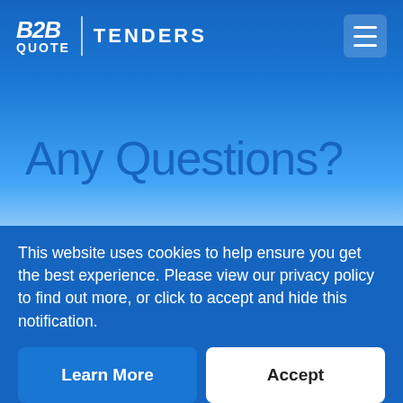B2B QUOTE | TENDERS
Any Questions?
Hopefully we'll answer your queries in our FAQ.
If you can't find your question in the categories
This website uses cookies to help ensure you get the best experience. Please view our privacy policy to find out more, or click to accept and hide this notification.
Learn More
Accept